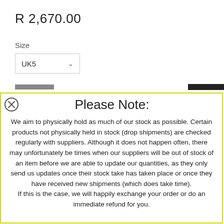R 2,670.00
Size
UK5
Please Note:
We aim to physically hold as much of our stock as possible. Certain products not physically held in stock (drop shipments) are checked regularly with suppliers. Although it does not happen often, there may unfortunately be times when our suppliers will be out of stock of an item before we are able to update our quantities, as they only send us updates once their stock take has taken place or once they have received new shipments (which does take time). If this is the case, we will happily exchange your order or do an immediate refund for you.